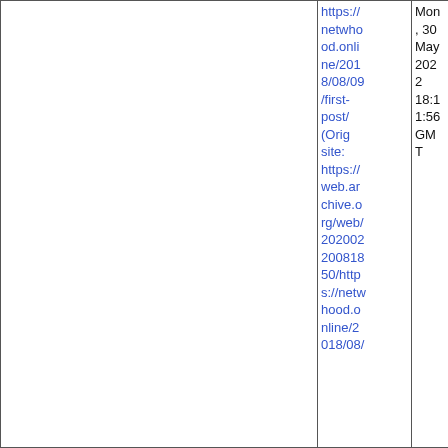| https://netwhood.online/2018/08/09/first-post/ (Orig site: https://web.archive.org/web/20200220081850/https://netw hood.online/2018/08/ | Mon, 30 May 2022 18:11:56 GMT | Archived webpage |